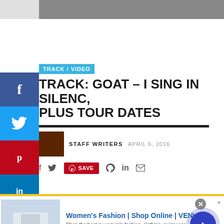[Figure (screenshot): Top image strip partially visible at top of page]
TRACK / VIDEO
TRACK: GOAT – I SING IN SILENC, PLUS TOUR DATES
STAFF WRITERS  APRIL 6, 2016
f  Twitter  SAVE  WhatsApp  in  Email
[Figure (screenshot): Advertisement banner: Women's Fashion | Shop Online | VENUS - Shop the best in women's fashion, clothing, swimwear - venus.com]